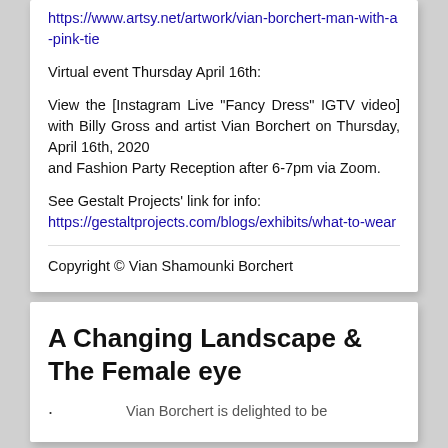https://www.artsy.net/artwork/vian-borchert-man-with-a-pink-tie
Virtual event Thursday April 16th:
View the [Instagram Live "Fancy Dress" IGTV video] with Billy Gross and artist Vian Borchert on Thursday, April 16th, 2020 and Fashion Party Reception after 6-7pm via Zoom.
See Gestalt Projects' link for info: https://gestaltprojects.com/blogs/exhibits/what-to-wear
Copyright © Vian Shamounki Borchert
A Changing Landscape & The Female eye
Vian Borchert is delighted to be